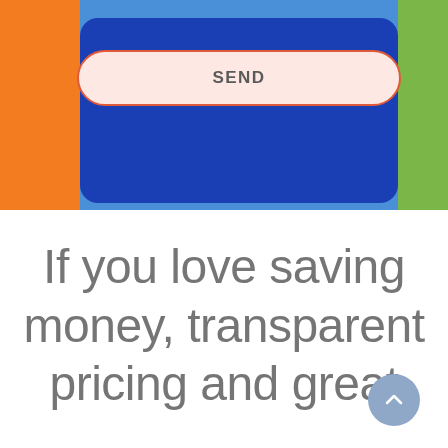[Figure (screenshot): Top portion of a mobile app interface showing an orange left bar, green right sliver, a blue card in the center with a SEND button styled with a pink/cream background and orange border.]
If you love saving money, transparent pricing and great